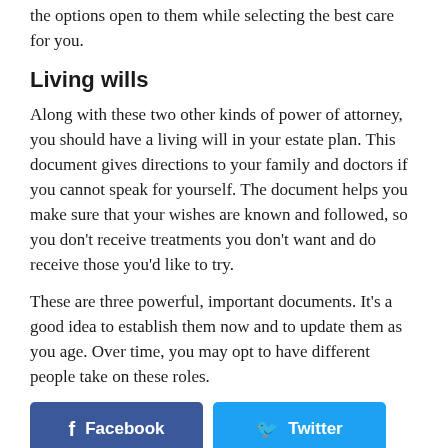the options open to them while selecting the best care for you.
Living wills
Along with these two other kinds of power of attorney, you should have a living will in your estate plan. This document gives directions to your family and doctors if you cannot speak for yourself. The document helps you make sure that your wishes are known and followed, so you don't receive treatments you don't want and do receive those you'd like to try.
These are three powerful, important documents. It's a good idea to establish them now and to update them as you age. Over time, you may opt to have different people take on these roles.
[Figure (other): Social media sharing buttons: Facebook, Twitter, LinkedIn]